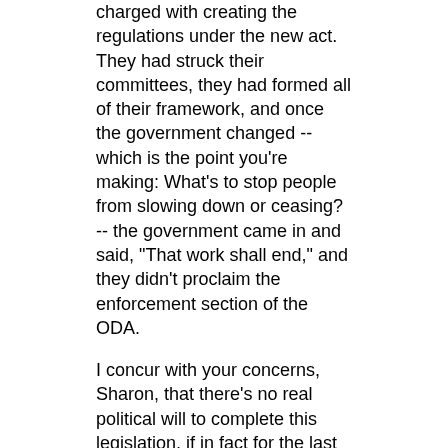charged with creating the regulations under the new act. They had struck their committees, they had formed all of their framework, and once the government changed -- which is the point you're making: What's to stop people from slowing down or ceasing? -- the government came in and said, "That work shall end," and they didn't proclaim the enforcement section of the ODA.
I concur with your concerns, Sharon, that there's no real political will to complete this legislation, if in fact for the last year and a half they've actually been stopping all work on the ODA.
The Chair: Thank you. Those on the government side --
Mr. Khalil Ramal (London-Fanshawe): On a point of order, Mr. Chair: It's been mentioned --